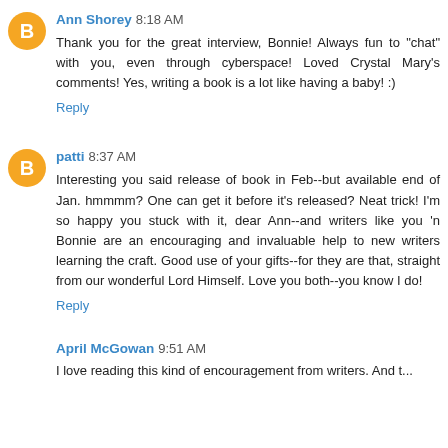Ann Shorey 8:18 AM
Thank you for the great interview, Bonnie! Always fun to "chat" with you, even through cyberspace! Loved Crystal Mary's comments! Yes, writing a book is a lot like having a baby! :)
Reply
patti 8:37 AM
Interesting you said release of book in Feb--but available end of Jan. hmmmm? One can get it before it's released? Neat trick! I'm so happy you stuck with it, dear Ann--and writers like you 'n Bonnie are an encouraging and invaluable help to new writers learning the craft. Good use of your gifts--for they are that, straight from our wonderful Lord Himself. Love you both--you know I do!
Reply
April McGowan 9:51 AM
I love reading this kind of encouragement from writers. And t...